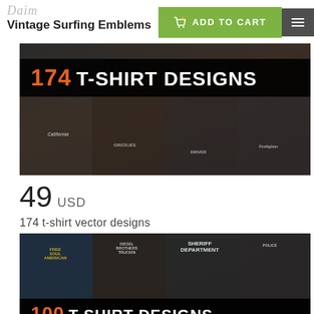Daim Vintage Surfing Emblems
[Figure (screenshot): Product listing screenshot showing '174 T-SHIRT DESIGNS' banner with multiple dark t-shirts featuring skull and vintage graphics]
49 USD
174 t-shirt vector designs
[Figure (screenshot): Second product image showing more dark t-shirts with sheriff, truckin, and skull designs, with '100 T-SHIRT DESIGNS' banner at bottom]